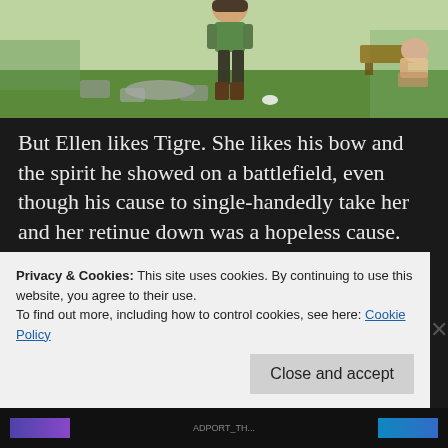[Figure (screenshot): Anime scene showing a character standing on stone path with grass, boots visible, outdoor setting with trees and fence in background]
But Ellen likes Tigre. She likes his bow and the spirit he showed on a battlefield, even though his cause to single-handedly take her and her retinue down was a hopeless cause. One reason I like her is that she reminds me of Maou in Maoyuu Maou Yuusha: powerful yet bored; willing to make common cause with her sworn enemy to their mutual benefit,
Privacy & Cookies: This site uses cookies. By continuing to use this website, you agree to their use.
To find out more, including how to control cookies, see here: Cookie Policy
Close and accept